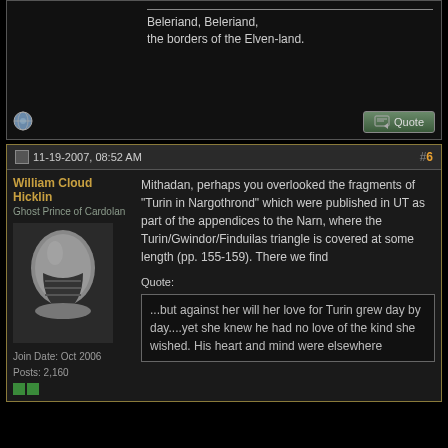Beleriand, Beleriand, the borders of the Elven-land.
11-19-2007, 08:52 AM  #6
William Cloud Hicklin
Ghost Prince of Cardolan
[Figure (photo): Avatar image of a silver/metal helmet or armor face piece]
Join Date: Oct 2006
Posts: 2,160
Mithadan, perhaps you overlooked the fragments of "Turin in Nargothrond" which were published in UT as part of the appendices to the Narn, where the Turin/Gwindor/Finduilas triangle is covered at some length (pp. 155-159). There we find
Quote:
...but against her will her love for Turin grew day by day....yet she knew he had no love of the kind she wished. His heart and mind were elsewhere